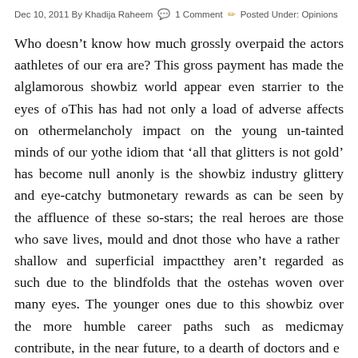Dec 10, 2011 By Khadija Raheem  1 Comment  Posted Under: Opinions
Who doesn't know how much grossly overpaid the actors and athletes of our era are? This gross payment has made the already glamorous showbiz world appear even starrier to the eyes of our youth. This has had not only a load of adverse affects on others but a melancholy impact on the young un-tainted minds of our youth, so the idiom that 'all that glitters is not gold' has become null and void. Not only is the showbiz industry glittery and eye-catchy but also offers monetary rewards as can be seen by the affluence of these so-called stars; the real heroes are those who save lives, mould and develop, not those who have a rather shallow and superficial impact. However they aren't regarded as such due to the blindfolds that the ostentation has woven over many eyes. The younger ones due to this are preferring showbiz over the more humble career paths such as medicine, which may contribute, in the near future, to a dearth of doctors and e